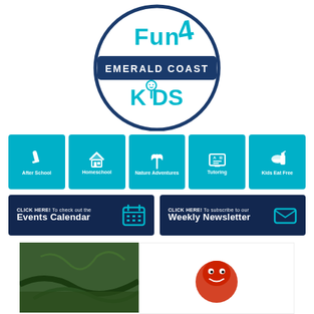[Figure (logo): Fun4 Emerald Coast Kids circular logo with teal and navy blue colors, featuring stylized text 'Fun4', a banner reading 'EMERALD COAST', and cartoon 'KIDS' text with a smiley face character]
[Figure (infographic): Five teal navigation tiles: After School (paint brush icon), Homeschool (house/books icon), Nature Adventures (leaf icon), Tutoring (laptop icon), Kids Eat Free (food icon)]
[Figure (infographic): Dark navy CTA banner: CLICK HERE! To check out the Events Calendar with calendar icon]
[Figure (infographic): Dark navy CTA banner: CLICK HERE! To subscribe to our Weekly Newsletter with envelope icon]
[Figure (photo): Bottom left: photo of what appears to be garden hoses or equipment in green vegetation]
[Figure (illustration): Bottom right: white box with partial illustration of what appears to be a red cartoon character or mascot]